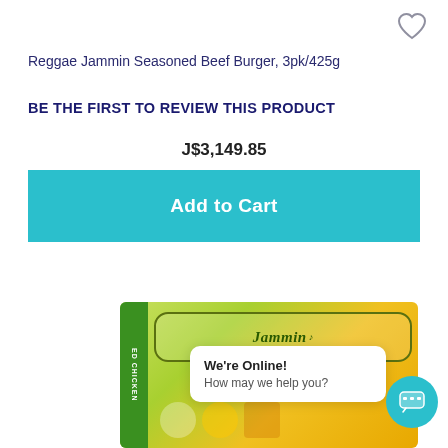[Figure (illustration): Heart/wishlist icon outline in top right corner]
Reggae Jammin Seasoned Beef Burger, 3pk/425g
BE THE FIRST TO REVIEW THIS PRODUCT
J$3,149.85
Add to Cart
[Figure (photo): Jammin seasoned chicken product package in green and yellow packaging, partially visible at bottom of page]
We're Online!
How may we help you?